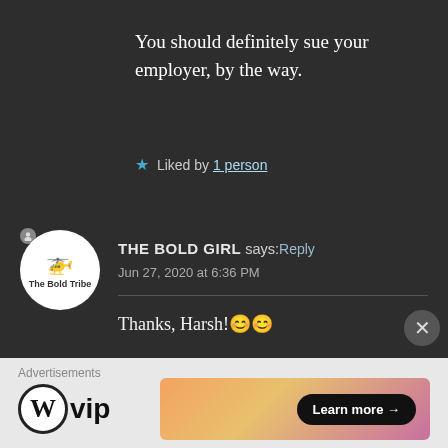You should definitely sue your employer, by the way.
★ Liked by 1 person
THE BOLD GIRL says: Reply
Jun 27, 2020 at 6:36 PM
Thanks, Harsh!😊😊
Oh, I so wish I could. But, who's got the time for it!😒
Advertisements
[Figure (logo): WordPress VIP logo with circle W and 'vip' text]
[Figure (infographic): Gradient ad banner with 'Learn more →' button]